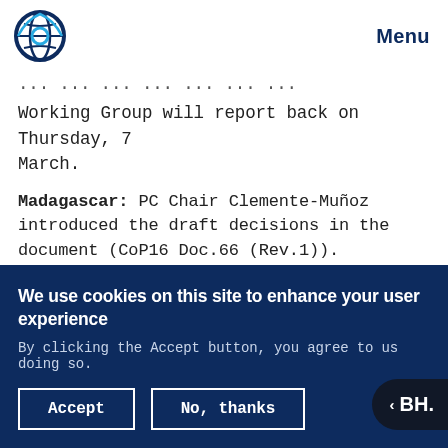Menu
Working Group will report back on Thursday, 7 March.
Madagascar: PC Chair Clemente-Muñoz introduced the draft decisions in the document (CoP16 Doc.66 (Rev.1)). Nomenclature Specialist Noel McGough (UK) highlighted work by Madagascar, including: development of identification techniques; preparation of
We use cookies on this site to enhance your user experience
By clicking the Accept button, you agree to us doing so.